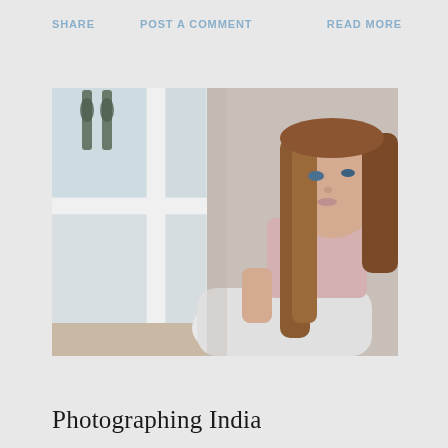SHARE   POST A COMMENT   READ MORE
[Figure (photo): Young woman with long brown hair sitting against a white wall next to a window, looking pensive, wearing a pink top and white pants]
Photographing India